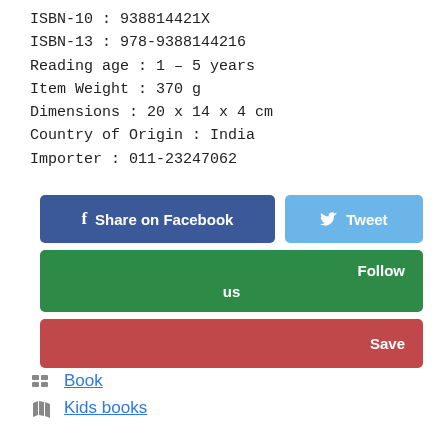ISBN-10 : 938814421X
ISBN-13 : 978-9388144216
Reading age : 1 – 5 years
Item Weight : 370 g
Dimensions : 20 x 14 x 4 cm
Country of Origin : India
Importer : 011-23247062
[Figure (infographic): Social share buttons: Share on Facebook (dark blue), Tweet (light blue), Follow us (green), Save (red)]
Book
Kids books